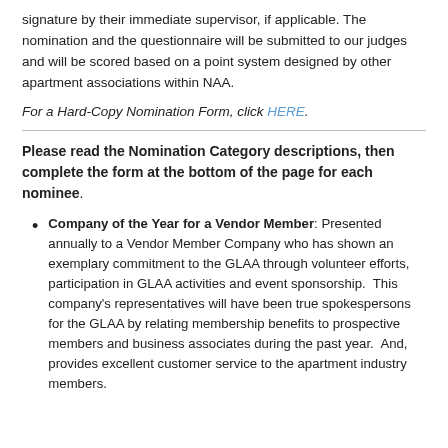signature by their immediate supervisor, if applicable. The nomination and the questionnaire will be submitted to our judges and will be scored based on a point system designed by other apartment associations within NAA.
For a Hard-Copy Nomination Form, click HERE.
Please read the Nomination Category descriptions, then complete the form at the bottom of the page for each nominee.
Company of the Year for a Vendor Member: Presented annually to a Vendor Member Company who has shown an exemplary commitment to the GLAA through volunteer efforts, participation in GLAA activities and event sponsorship. This company's representatives will have been true spokespersons for the GLAA by relating membership benefits to prospective members and business associates during the past year. And, provides excellent customer service to the apartment industry members.